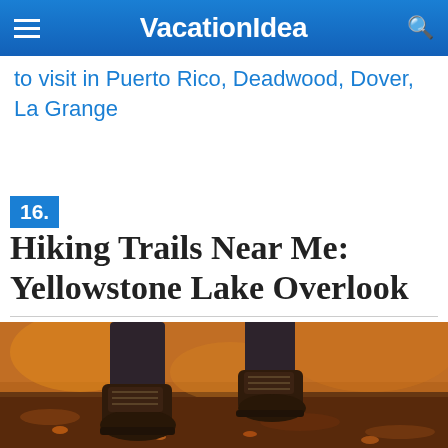VacationIdea
to visit in Puerto Rico, Deadwood, Dover, La Grange
16. Hiking Trails Near Me: Yellowstone Lake Overlook
[Figure (photo): Close-up photo of hiking boots walking on a forest trail covered with autumn leaves and dirt, warm orange and brown tones in background.]